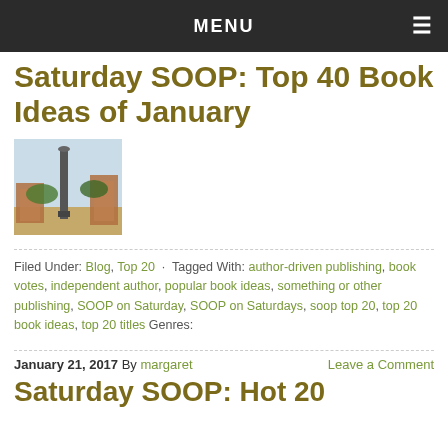MENU
Saturday SOOP: Top 40 Book Ideas of January
[Figure (photo): Photograph of an ancient monument or column with ruins and trees in the background, outdoor scene with blue sky]
Filed Under: Blog, Top 20 · Tagged With: author-driven publishing, book votes, independent author, popular book ideas, something or other publishing, SOOP on Saturday, SOOP on Saturdays, soop top 20, top 20 book ideas, top 20 titles Genres:
January 21, 2017 By margaret    Leave a Comment
Saturday SOOP: Hot 20